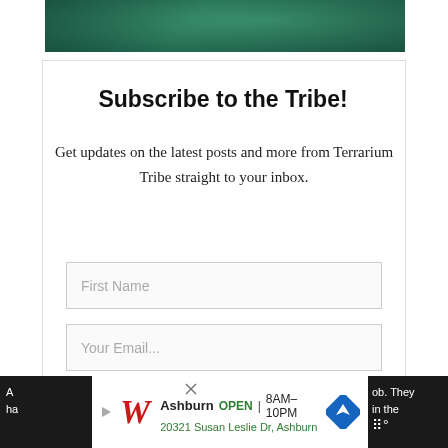[Figure (photo): Dark green foliage/terrarium background image banner at top]
Subscribe to the Tribe!
Get updates on the latest posts and more from Terrarium Tribe straight to your inbox.
First Name
Your Email...
SUBSCRIBE
I consent to receiving emails and personalized ads.
[Figure (screenshot): Walgreens advertisement banner at the bottom: Ashburn OPEN 8AM-10PM, 20321 Susan Leslie Dr, Ashburn with navigation icon]